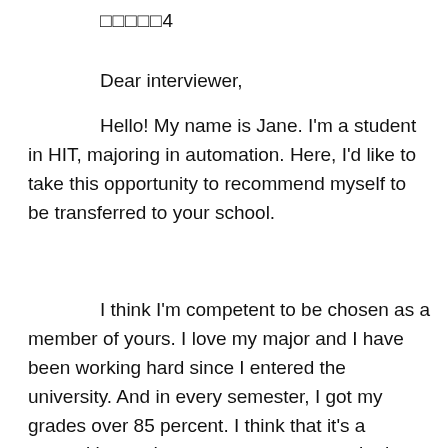□□□□□4
Dear interviewer,
Hello! My name is Jane. I'm a student in HIT, majoring in automation. Here, I'd like to take this opportunity to recommend myself to be transferred to your school.
I think I'm competent to be chosen as a member of yours. I love my major and I have been working hard since I entered the university. And in every semester, I got my grades over 85 percent. I think that it's a recognition and encouragement to me. In the meantime, I spent a lot of time studying English after